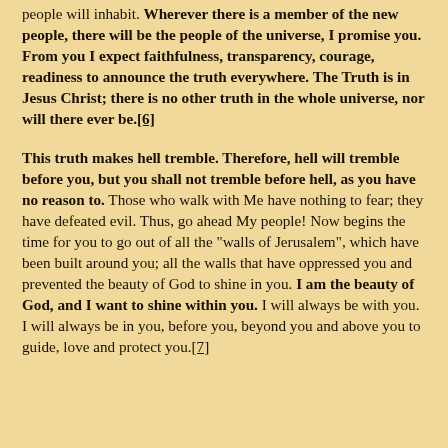people will inhabit. Wherever there is a member of the new people, there will be the people of the universe, I promise you. From you I expect faithfulness, transparency, courage, readiness to announce the truth everywhere. The Truth is in Jesus Christ; there is no other truth in the whole universe, nor will there ever be.[6]
This truth makes hell tremble. Therefore, hell will tremble before you, but you shall not tremble before hell, as you have no reason to. Those who walk with Me have nothing to fear; they have defeated evil. Thus, go ahead My people! Now begins the time for you to go out of all the "walls of Jerusalem", which have been built around you; all the walls that have oppressed you and prevented the beauty of God to shine in you. I am the beauty of God, and I want to shine within you. I will always be with you. I will always be in you, before you, beyond you and above you to guide, love and protect you.[7]